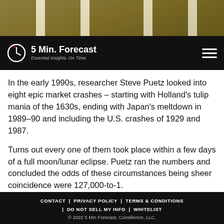[Figure (photo): Sepia-toned city skyline hero image with vertical white stripe overlays]
5 Min. Forecast — Essential Insights. On Time. (navigation bar with hamburger menu)
In the early 1990s, researcher Steve Puetz looked into eight epic market crashes – starting with Holland's tulip mania of the 1630s, ending with Japan's meltdown in 1989–90 and including the U.S. crashes of 1929 and 1987.
Turns out every one of them took place within a few days of a full moon/lunar eclipse. Puetz ran the numbers and concluded the odds of these circumstances being sheer coincidence were 127,000-to-1.
He also hastened to point out that while epic crashes
CONTACT | PRIVACY POLICY | TERMS & CONDITIONS | DO NOT SELL MY INFO | WHITELIST
© 2022 5 Min Forecast, Consilience, LLC.